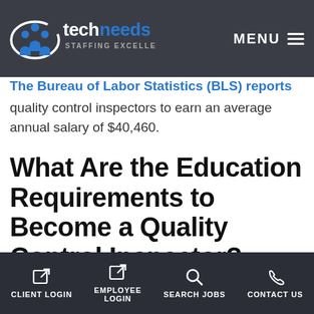techneeds STAFFING EXCELLENCE — MENU
Control Inspectors Earn?
The Bureau of Labor Statistics (BLS) reports quality control inspectors to earn an average annual salary of $40,460.
What Are the Education Requirements to Become a Quality Control Inspector?
BLS points out employers require applicants to have at least a high school diploma before they are hired. It also notes that new hires typically
CLIENT LOGIN   EMPLOYEE LOGIN   SEARCH JOBS   CONTACT US